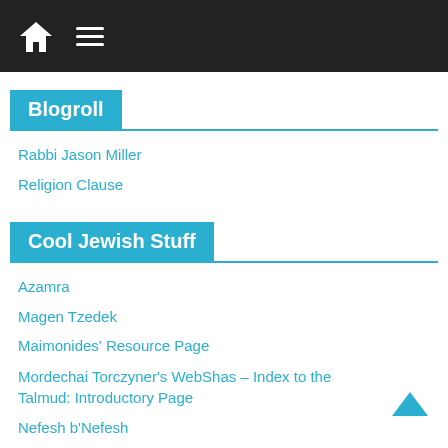Home | Menu
Blogroll
Rabbi Jason Miller
Religion Clause
Cool Jewish Stuff
Azamra
Magen Tzedek
Maimonides' Resource Page
Mordechai Torczyner's WebShas – Index to the Talmud: Introductory Page
Nefesh b'Nefesh